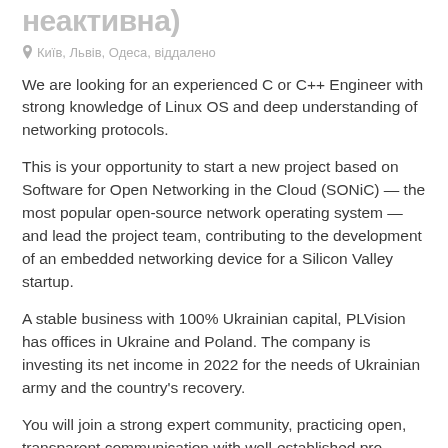неактивна)
Київ, Львів, Одеса, віддалено
We are looking for an experienced C or C++ Engineer with strong knowledge of Linux OS and deep understanding of networking protocols.
This is your opportunity to start a new project based on Software for Open Networking in the Cloud (SONiC) — the most popular open-source network operating system — and lead the project team, contributing to the development of an embedded networking device for a Silicon Valley startup.
A stable business with 100% Ukrainian capital, PLVision has offices in Ukraine and Poland. The company is investing its net income in 2022 for the needs of Ukrainian army and the country's recovery.
You will join a strong expert community, practicing open, transparent communication with well-established processes...